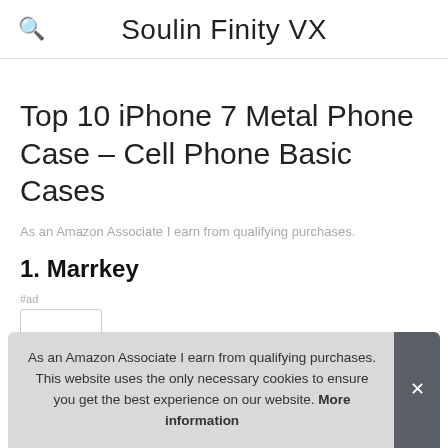Soulin Finity VX
Top 10 iPhone 7 Metal Phone Case – Cell Phone Basic Cases
As an Amazon Associate I earn from qualifying purchases.
1. Marrkey
#ad
As an Amazon Associate I earn from qualifying purchases. This website uses the only necessary cookies to ensure you get the best experience on our website. More information